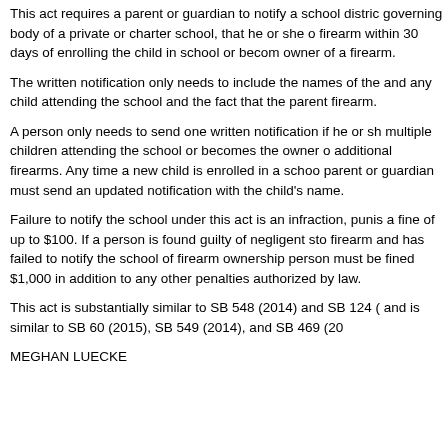This act requires a parent or guardian to notify a school district governing body of a private or charter school, that he or she owns a firearm within 30 days of enrolling the child in school or becoming the owner of a firearm.
The written notification only needs to include the names of the parent and any child attending the school and the fact that the parent owns a firearm.
A person only needs to send one written notification if he or she has multiple children attending the school or becomes the owner of additional firearms. Any time a new child is enrolled in a school, the parent or guardian must send an updated notification with the new child's name.
Failure to notify the school under this act is an infraction, punishable by a fine of up to $100. If a person is found guilty of negligent storage of a firearm and has failed to notify the school of firearm ownership, the person must be fined $1,000 in addition to any other penalties authorized by law.
This act is substantially similar to SB 548 (2014) and SB 124 (2013) and is similar to SB 60 (2015), SB 549 (2014), and SB 469 (2013).
MEGHAN LUECKE